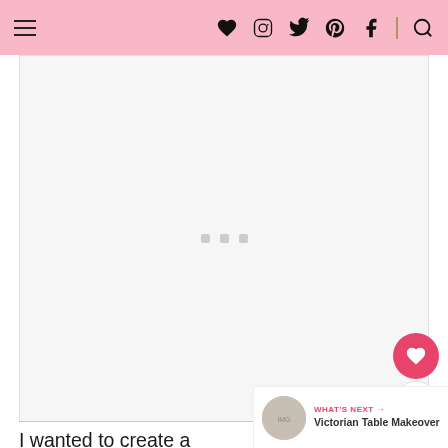Navigation header with hamburger menu and social icons (heart, instagram, twitter, pinterest, facebook, search)
[Figure (photo): Loading image placeholder with three grey squares (loading indicator) on white/light grey background]
I wanted to create a dreamy, neutral table setting. I think I accomplished what I set out to do. let me know what you think!